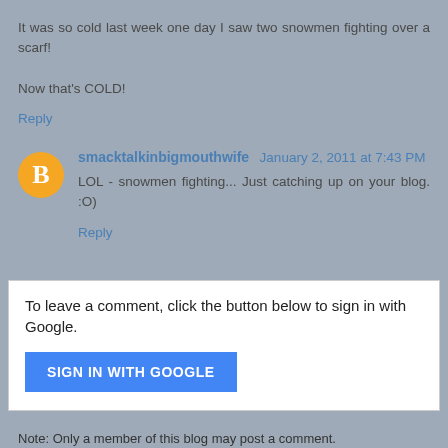It was so cold last week one day I saw two snowmen fighting over a scarf!

Now that's COLD!
Reply
smacktalkinbigmouthwife January 2, 2011 at 7:43 PM
LOL - snowmen fighting... Just catching up on your blog. :O)
Reply
To leave a comment, click the button below to sign in with Google.
SIGN IN WITH GOOGLE
Note: Only a member of this blog may post a comment.